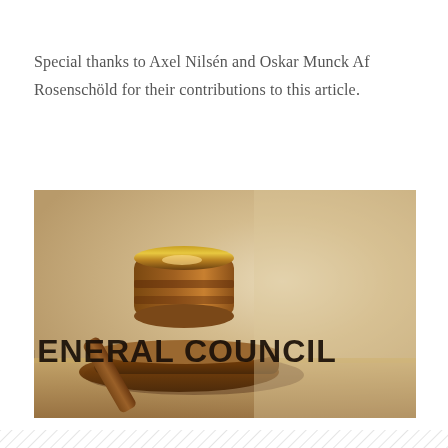Special thanks to Axel Nilsén and Oskar Munck Af Rosenschöld for their contributions to this article.
[Figure (photo): A wooden judge's gavel on a sound block against a warm beige/golden background, with bold black text reading 'GENERAL COUNCIL' overlaid on the lower portion of the image.]